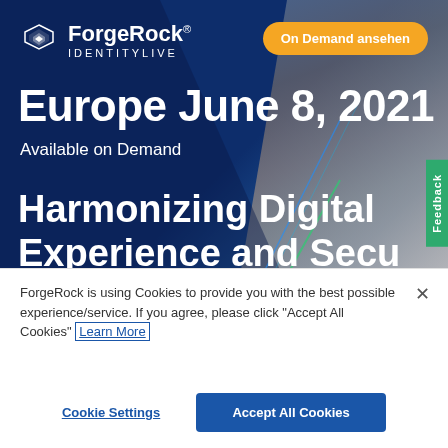[Figure (screenshot): ForgeRock Identity Live Europe June 8 2021 event hero banner with two men photo in background, blue gradient overlay, geometric diagonal shapes, green Feedback tab on right edge]
ForgeRock® IDENTITYLIVE
On Demand ansehen
Europe June 8, 2021
Available on Demand
Harmonizing Digital Experience and Secu...
Feedback
ForgeRock is using Cookies to provide you with the best possible experience/service. If you agree, please click "Accept All Cookies" Learn More
Cookie Settings
Accept All Cookies